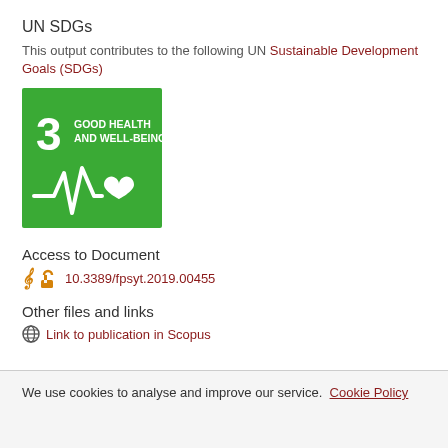UN SDGs
This output contributes to the following UN Sustainable Development Goals (SDGs)
[Figure (logo): UN SDG 3 Good Health and Well-Being badge — green square with number 3, text 'GOOD HEALTH AND WELL-BEING', and a white heartbeat/ECG line with heart icon]
Access to Document
10.3389/fpsyt.2019.00455
Other files and links
Link to publication in Scopus
We use cookies to analyse and improve our service. Cookie Policy